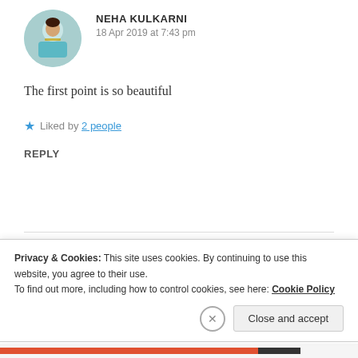[Figure (photo): Circular avatar photo of Neha Kulkarni wearing a teal/blue outfit with gold jewelry]
NEHA KULKARNI
18 Apr 2019 at 7:43 pm
The first point is so beautiful
Liked by 2 people
REPLY
[Figure (photo): Circular avatar photo of Zealous Homo Sapiens, dark reddish-brown background with person silhouette]
ZEALOUS HOMO SAPIENS
19 Apr 2019 at 6:47 pm
Privacy & Cookies: This site uses cookies. By continuing to use this website, you agree to their use.
To find out more, including how to control cookies, see here: Cookie Policy
Close and accept